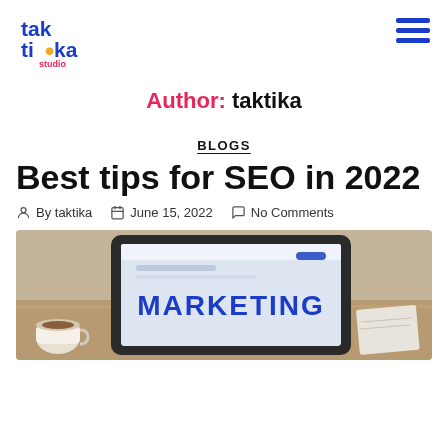taktika studio logo and navigation menu
Author: taktika
BLOGS
Best tips for SEO in 2022
By taktika   June 15, 2022   No Comments
[Figure (photo): A tablet displaying a website with the word MARKETING prominently shown, placed on a wooden desk with a coffee cup nearby]